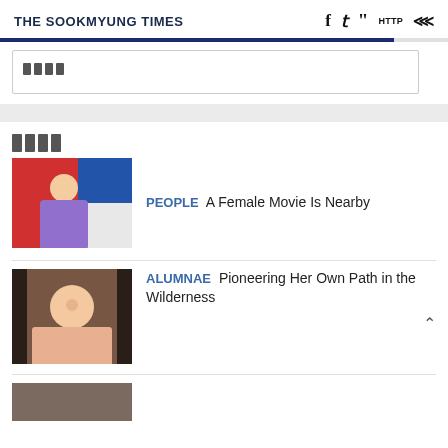THE SOOKMYUNG TIMES
[Figure (screenshot): Search box with icon bars]
[Figure (screenshot): Section icon bars]
[Figure (photo): Woman in purple jacket against red and blue background]
PEOPLE  A Female Movie Is Nearby
[Figure (photo): Smiling woman in peach top against dark background]
ALUMNAE  Pioneering Her Own Path in the Wilderness